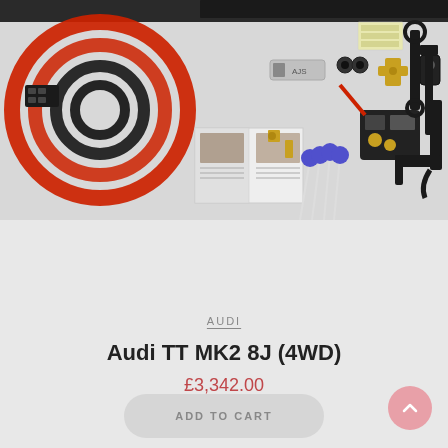[Figure (photo): Product photo of an air suspension kit showing various components: red and black wiring cables, fittings, brass valve, remote control fob, relay, instruction booklet, spanners/wrenches, and other hardware parts laid out on a gray background.]
AUDI
Audi TT MK2 8J (4WD)
£3,342.00
ADD TO CART